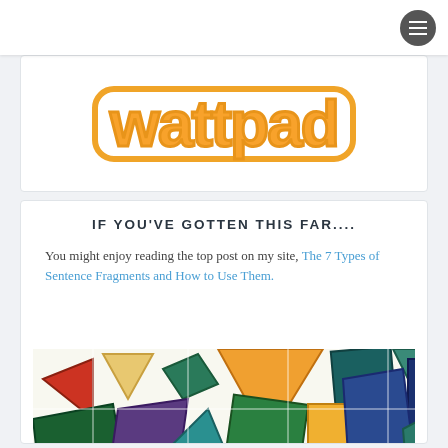[Figure (logo): Wattpad logo: orange bubble-letter text 'wattpad' with orange rounded border]
IF YOU'VE GOTTEN THIS FAR....
You might enjoy reading the top post on my site, The 7 Types of Sentence Fragments and How to Use Them.
[Figure (illustration): Colorful mosaic/stained-glass style illustration with geometric shapes in red, orange, yellow, green, blue, and purple]